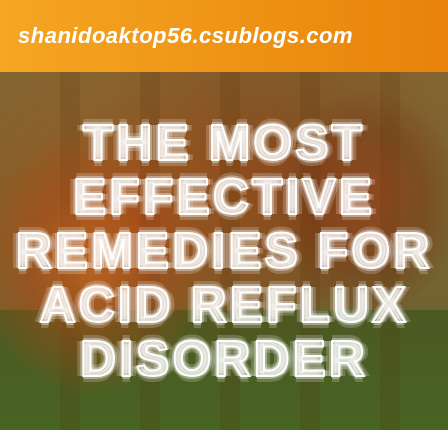shanidoaktop56.csublogs.com
[Figure (photo): A person standing in a park or wooded area holding colored smoke bombs, with orange/red smoke billowing around them. The background shows trees and green grass with warm golden tones.]
THE MOST EFFECTIVE REMEDIES FOR ACID REFLUX DISORDER